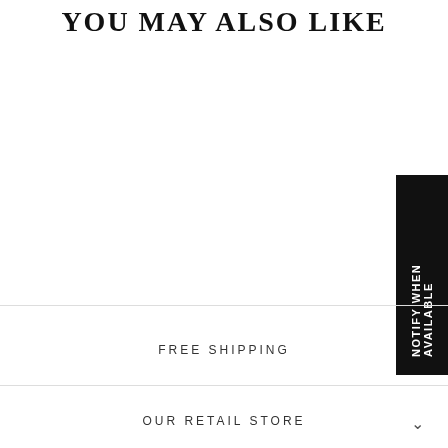YOU MAY ALSO LIKE
NOTIFY WHEN AVAILABLE
FREE SHIPPING
OUR RETAIL STORE